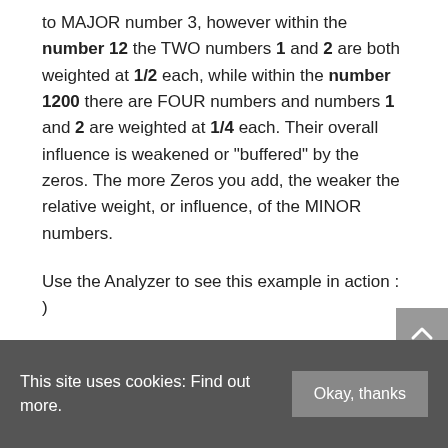to MAJOR number 3, however within the number 12 the TWO numbers 1 and 2 are both weighted at 1/2 each, while within the number 1200 there are FOUR numbers and numbers 1 and 2 are weighted at 1/4 each. Their overall influence is weakened or "buffered" by the zeros. The more Zeros you add, the weaker the relative weight, or influence, of the MINOR numbers.
Use the Analyzer to see this example in action : )
This site uses cookies: Find out more.